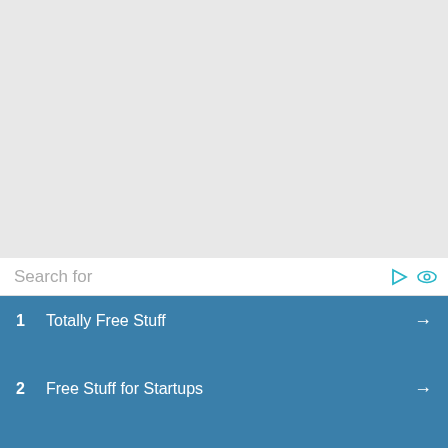[Figure (screenshot): Gray background area (top portion of a mobile app or browser interface)]
Search for
1   Totally Free Stuff
2   Free Stuff for Startups
3   Free Stuff for Newborn Babies